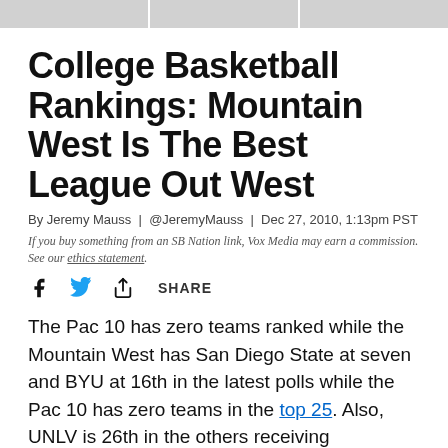College Basketball Rankings: Mountain West Is The Best League Out West
By Jeremy Mauss | @JeremyMauss | Dec 27, 2010, 1:13pm PST
If you buy something from an SB Nation link, Vox Media may earn a commission. See our ethics statement.
SHARE
The Pac 10 has zero teams ranked while the Mountain West has San Diego State at seven and BYU at 16th in the latest polls while the Pac 10 has zero teams in the top 25. Also, UNLV is 26th in the others receiving